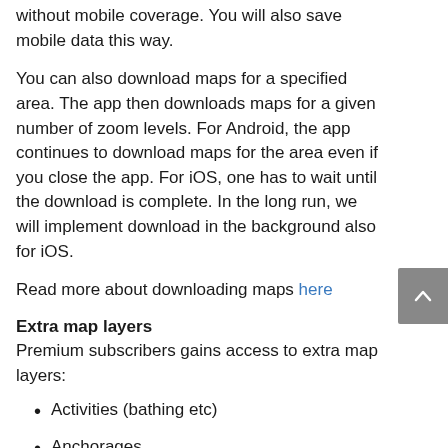without mobile coverage. You will also save mobile data this way.
You can also download maps for a specified area. The app then downloads maps for a given number of zoom levels. For Android, the app continues to download maps for the area even if you close the app. For iOS, one has to wait until the download is complete. In the long run, we will implement download in the background also for iOS.
Read more about downloading maps here
Extra map layers
Premium subscribers gains access to extra map layers:
Activities (bathing etc)
Anchorages
Depths sea
Depths lakes
Facilities
Open air routes
Cultural heritage